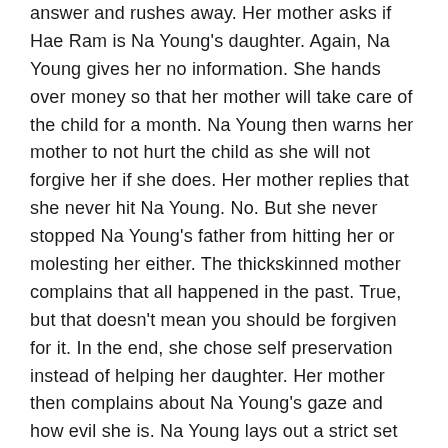answer and rushes away. Her mother asks if Hae Ram is Na Young's daughter. Again, Na Young gives her no information. She hands over money so that her mother will take care of the child for a month. Na Young then warns her mother to not hurt the child as she will not forgive her if she does. Her mother replies that she never hit Na Young. No. But she never stopped Na Young's father from hitting her or molesting her either. The thickskinned mother complains that all happened in the past. True, but that doesn't mean you should be forgiven for it. In the end, she chose self preservation instead of helping her daughter. Her mother then complains about Na Young's gaze and how evil she is. Na Young lays out a strict set of rules. The child cannot be seen and her mother had better make sure that no hair is harmed on her head and that no man comes over.